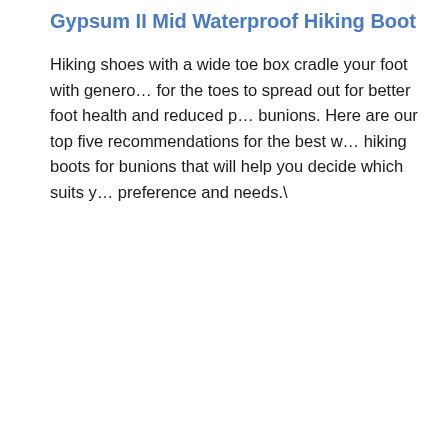Gypsum II Mid Waterproof Hiking Boot
Hiking shoes with a wide toe box cradle your foot with generously allowing for the toes to spread out for better foot health and reduced pressure on bunions. Here are our top five recommendations for the best women's hiking boots for bunions that will help you decide which suits your preference and needs.\